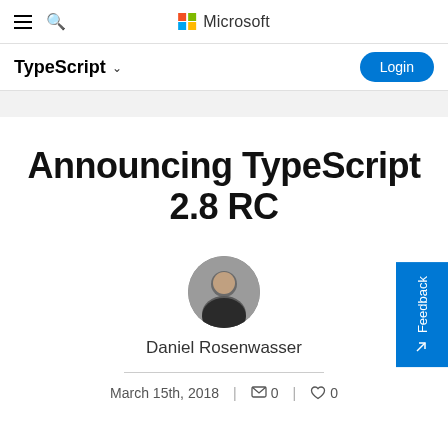Microsoft TypeScript - Login
Announcing TypeScript 2.8 RC
[Figure (photo): Circular avatar photo of Daniel Rosenwasser]
Daniel Rosenwasser
March 15th, 2018  0  0